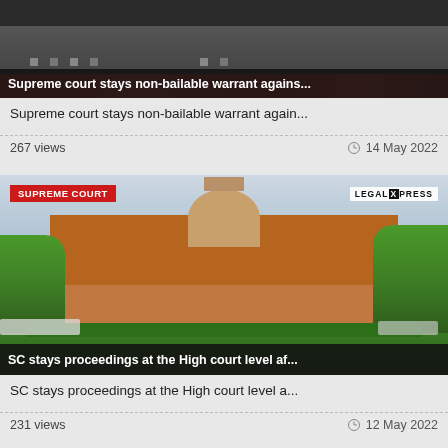[Figure (photo): Photo of Supreme Court building with red flowers, dark background]
Supreme court stays non-bailable warrant again...
267 views
14 May 2022
[Figure (photo): Supreme Court of India building with dome, trees, lawn, watermark LEGALXPRESS, tag SUPREME COURT]
SC stays proceedings at the High court level a...
231 views
12 May 2022